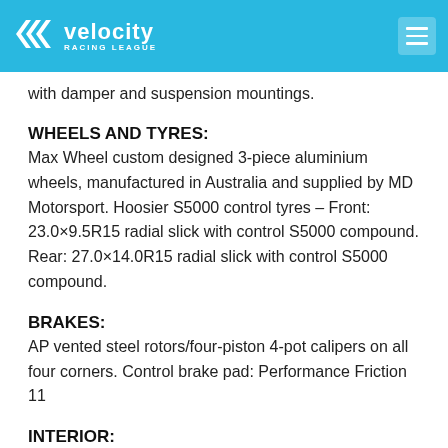velocity RACING LEAGUE
with damper and suspension mountings.
WHEELS AND TYRES:
Max Wheel custom designed 3-piece aluminium wheels, manufactured in Australia and supplied by MD Motorsport. Hoosier S5000 control tyres – Front: 23.0×9.5R15 radial slick with control S5000 compound. Rear: 27.0×14.0R15 radial slick with control S5000 compound.
BRAKES:
AP vented steel rotors/four-piston 4-pot calipers on all four corners. Control brake pad: Performance Friction 11
INTERIOR:
S5000 spec by GRM with integrated MoTeC D153 dash, SLM, paddle shift, pit limit, scroll, alarm acknowledge and radio buttons. Custom designed 3D printed steering wheel handle